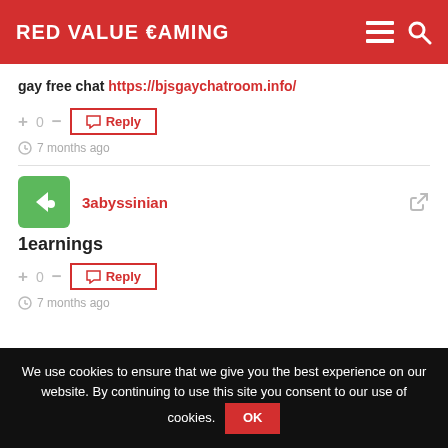Red Value Gaming
gay free chat https://bjsgaychatroom.info/
+ 0 -  Reply
7 months ago
3abyssinian
1earnings
+ 0 -  Reply
7 months ago
We use cookies to ensure that we give you the best experience on our website. By continuing to use this site you consent to our use of cookies. OK